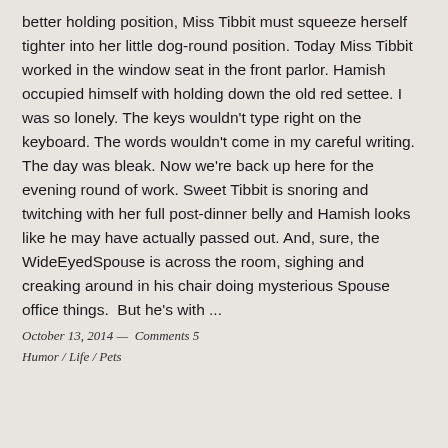better holding position, Miss Tibbit must squeeze herself tighter into her little dog-round position. Today Miss Tibbit worked in the window seat in the front parlor. Hamish occupied himself with holding down the old red settee. I was so lonely. The keys wouldn't type right on the keyboard. The words wouldn't come in my careful writing. The day was bleak. Now we're back up here for the evening round of work. Sweet Tibbit is snoring and twitching with her full post-dinner belly and Hamish looks like he may have actually passed out. And, sure, the WideEyedSpouse is across the room, sighing and creaking around in his chair doing mysterious Spouse office things.  But he's with ...
October 13, 2014 —  Comments 5
Humor / Life / Pets